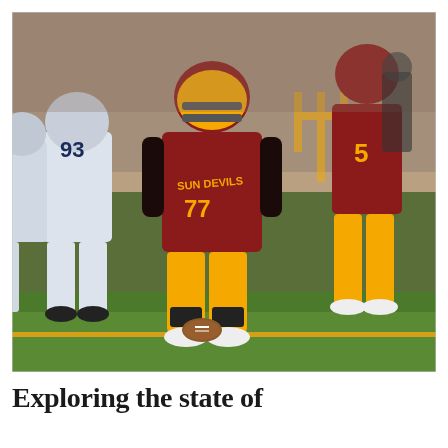[Figure (photo): Arizona State Sun Devils football game action photo. Player #77 in maroon and gold Sun Devils uniform blocking an opponent #93 in white uniform. Player #5 in maroon and gold is visible in the background. The game is played at night under stadium lights with ASU's pitchfork logo visible on the field backdrop.]
Exploring the state of